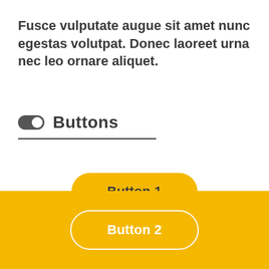Fusce vulputate augue sit amet nunc egestas volutpat. Donec laoreet urna nec leo ornare aliquet.
Buttons
[Figure (illustration): Button 1 - yellow pill-shaped button on white background with text 'Button 1']
[Figure (illustration): Button 2 - white-outlined pill-shaped button on yellow background with text 'Button 2']